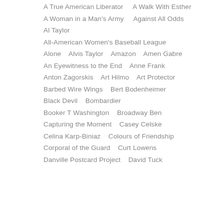A True American Liberator    A Walk With Esther
A Woman in a Man's Army    Against All Odds
Al Taylor
All-American Women's Baseball League
Alone    Alvis Taylor    Amazon    Amen Gabre
An Eyewitness to the End    Anne Frank
Anton Zagorskis    Art Hilmo    Art Protector
Barbed Wire Wings    Bert Bodenheimer
Black Devil    Bombardier
Booker T Washington    Broadway Ben
Capturing the Moment    Casey Celske
Celina Karp-Biniaz    Colours of Friendship
Corporal of the Guard    Curt Lowens
Danville Postcard Project    David Tuck